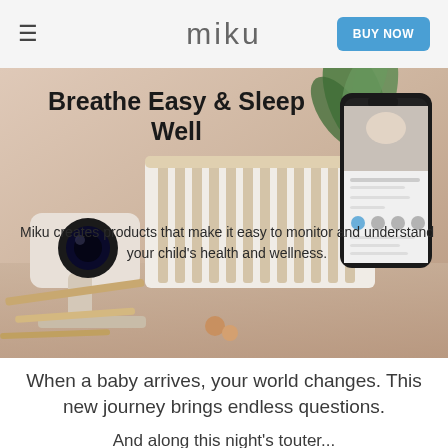miku | BUY NOW
[Figure (photo): Hero image of Miku baby monitor camera on a stand with a baby crib and smartphone app display against a warm beige background]
Breathe Easy & Sleep Well
Miku creates products that make it easy to monitor and understand your child's health and wellness.
When a baby arrives, your world changes. This new journey brings endless questions.
And along this night's touter...